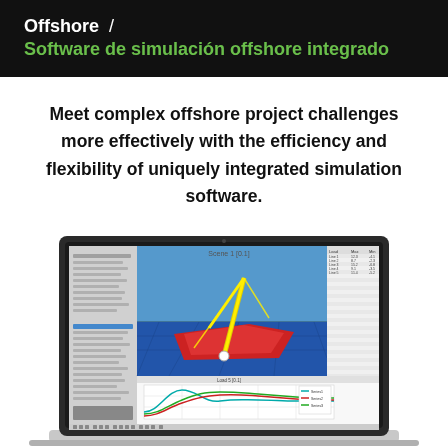Offshore / Software de simulación offshore integrado
Meet complex offshore project challenges more effectively with the efficiency and flexibility of uniquely integrated simulation software.
[Figure (screenshot): Laptop displaying offshore simulation software with a 3D model of a marine vessel/structure in yellow and red on a blue background, alongside data panels and a graph with curves on the right side of the screen.]